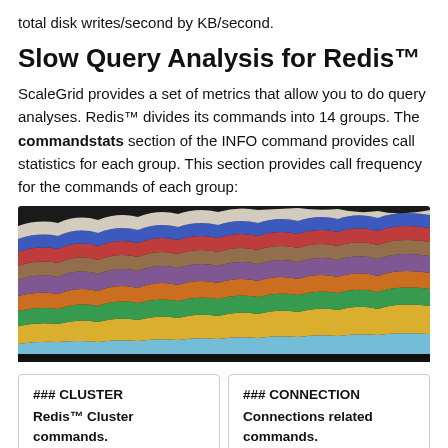total disk writes/second by KB/second.
Slow Query Analysis for Redis™
ScaleGrid provides a set of metrics that allow you to do query analyses. Redis™ divides its commands into 14 groups. The commandstats section of the INFO command provides call statistics for each group. This section provides call frequency for the commands of each group:
[Figure (area-chart): Stacked area chart showing command group call frequency over time on a dark background. Multiple colored bands representing different Redis command groups. Below the chart is a legend table with values for CLUSTER (23), CONNECTION (22), GEO (5), HASH (11), HYPERLOG (16), KVS (21), LIST (5), SERVER (19), SLOTTING (4), SSET (26), ST (2), STREAM (27), STRING (18), TRANSACTION (0).]
### CLUSTER
Redis™ Cluster commands.
More info here
### CONNECTION
Connections related commands.
More info here